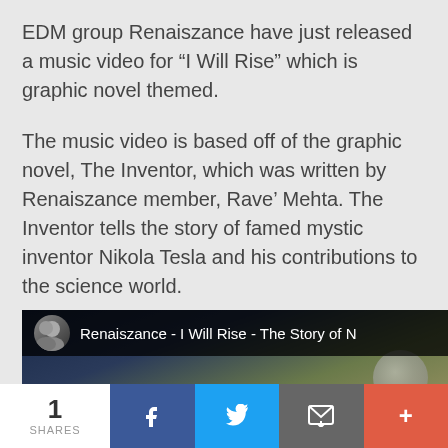EDM group Renaiszance have just released a music video for “I Will Rise” which is graphic novel themed.
The music video is based off of the graphic novel, The Inventor, which was written by Renaiszance member, Rave’ Mehta. The Inventor tells the story of famed mystic inventor Nikola Tesla and his contributions to the science world.
[Figure (screenshot): Video thumbnail for 'Renaiszance - I Will Rise - The Story of N...' with dark cloudy background and circular avatar showing two people.]
1 SHARES | Facebook share | Twitter share | Email share | More